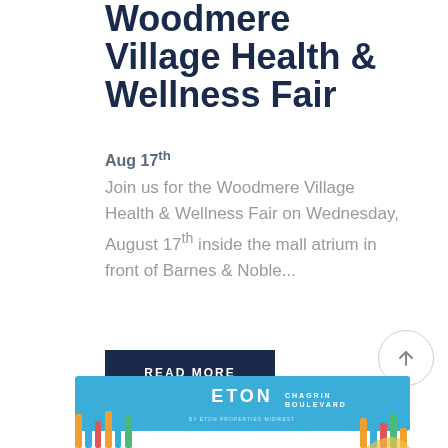Woodmere Village Health & Wellness Fair
Aug 17th
Join us for the Woodmere Village Health & Wellness Fair on Wednesday, August 17th inside the mall atrium in front of Barnes & Noble...
READ MORE
[Figure (logo): Eton Chagrin Boulevard logo banner with colorful decorative elements on the bottom portion of the page]